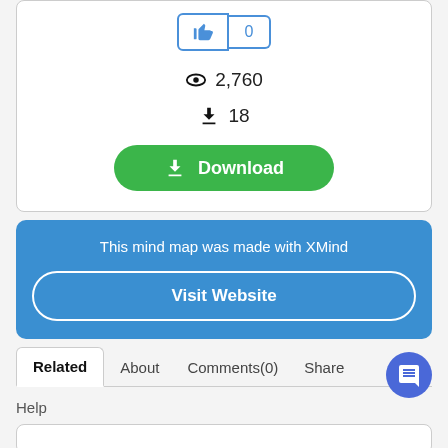👍 0
👁 2,760
⬇ 18
Download
This mind map was made with XMind
Visit Website
Related   About   Comments(0)   Share
Help